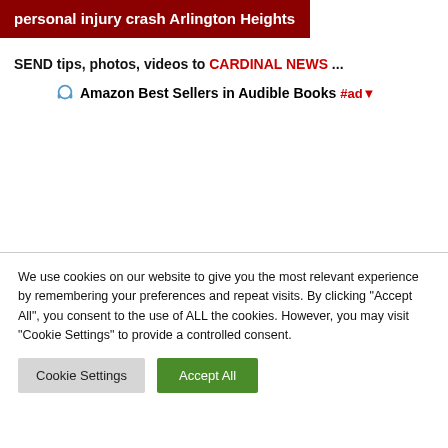personal injury crash Arlington Heights
SEND tips, photos, videos to CARDINAL NEWS ...
🎧 Amazon Best Sellers in Audible Books #ad▼
We use cookies on our website to give you the most relevant experience by remembering your preferences and repeat visits. By clicking "Accept All", you consent to the use of ALL the cookies. However, you may visit "Cookie Settings" to provide a controlled consent.